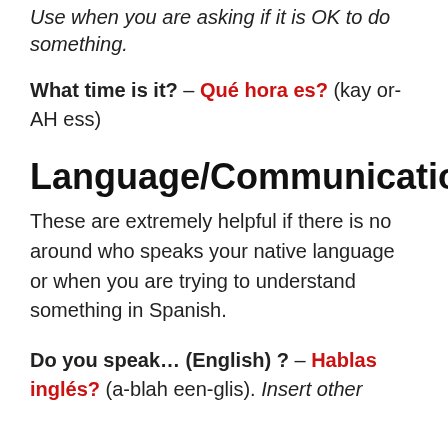Use when you are asking if it is OK to do something.
What time is it? – Qué hora es? (kay or-AH ess)
Language/Communication
These are extremely helpful if there is no around who speaks your native language or when you are trying to understand something in Spanish.
Do you speak… (English) ? – Hablas inglés? (a-blah een-glis). Insert other